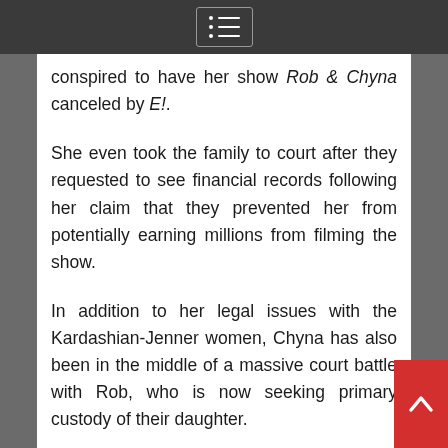Navigation menu
conspired to have her show Rob & Chyna canceled by E!.
She even took the family to court after they requested to see financial records following her claim that they prevented her from potentially earning millions from filming the show.
In addition to her legal issues with the Kardashian-Jenner women, Chyna has also been in the middle of a massive court battle with Rob, who is now seeking primary custody of their daughter.
[Figure (screenshot): Instagram profile widget showing khloekardas... account with verified badge, 268M followers, and a View profile button in blue. Below is a partial photo showing two people outdoors.]